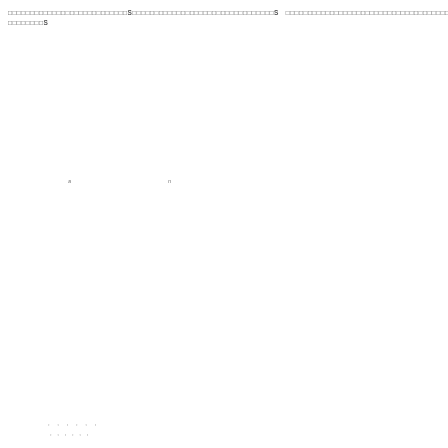□□□□□□□□□□□□□□□□□□□□□□□□□□□S□□□□□□□□□□□□□□□□□□□□□□□□□□□□□S  □□□□□□□□□□□□□□□□□□□□□□□□□□□□□□□□□□□□□□□S
scattered small italic labels and dots pattern